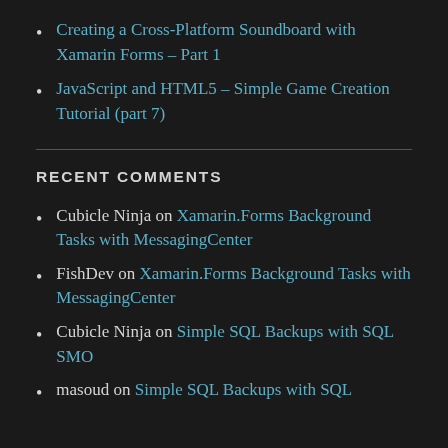Creating a Cross-Platform Soundboard with Xamarin Forms – Part 1
JavaScript and HTML5 – Simple Game Creation Tutorial (part 7)
RECENT COMMENTS
Cubicle Ninja on Xamarin.Forms Background Tasks with MessagingCenter
FishDev on Xamarin.Forms Background Tasks with MessagingCenter
Cubicle Ninja on Simple SQL Backups with SQL SMO
masoud on Simple SQL Backups with SQL